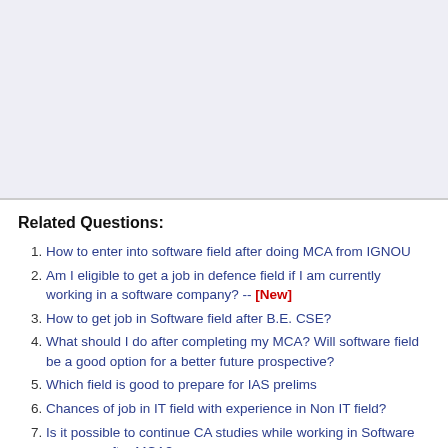[Figure (other): Advertisement or placeholder block with light blue-grey background]
Related Questions:
How to enter into software field after doing MCA from IGNOU
Am I eligible to get a job in defence field if I am currently working in a software company? -- [New]
How to get job in Software field after B.E. CSE?
What should I do after completing my MCA? Will software field be a good option for a better future prospective?
Which field is good to prepare for IAS prelims
Chances of job in IT field with experience in Non IT field?
Is it possible to continue CA studies while working in Software company after MCA?
Can I settle in software field after doing MSc computer science?